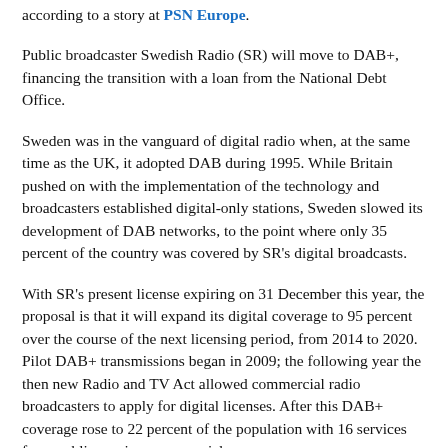according to a story at PSN Europe.
Public broadcaster Swedish Radio (SR) will move to DAB+, financing the transition with a loan from the National Debt Office.
Sweden was in the vanguard of digital radio when, at the same time as the UK, it adopted DAB during 1995. While Britain pushed on with the implementation of the technology and broadcasters established digital-only stations, Sweden slowed its development of DAB networks, to the point where only 35 percent of the country was covered by SR's digital broadcasts.
With SR's present license expiring on 31 December this year, the proposal is that it will expand its digital coverage to 95 percent over the course of the next licensing period, from 2014 to 2020. Pilot DAB+ transmissions began in 2009; the following year the then new Radio and TV Act allowed commercial radio broadcasters to apply for digital licenses. After this DAB+ coverage rose to 22 percent of the population with 16 services from public service, commercial